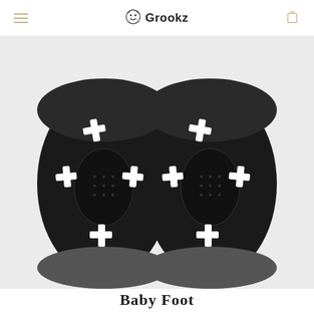Grookz
[Figure (photo): Top-down view of a pair of black baby shoe-socks with white cross/plus sign pattern on the sole and upper, with rubber grip soles. The shoes are placed on a white/light gray background.]
Baby Foot